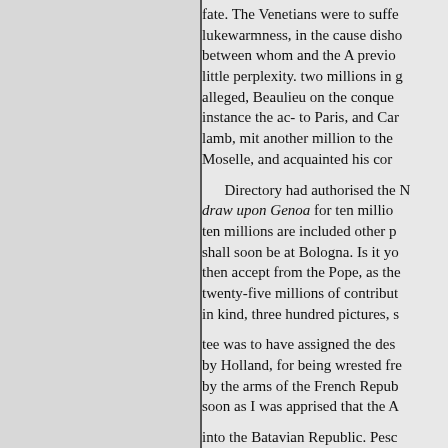fate. The Venetians were to suffer lukewarmness, in the cause disho between whom and the A previo little perplexity. two millions in g alleged, Beaulieu on the conque instance the ac- to Paris, and Car lamb, mit another million to the Moselle, and acquainted his cor Directory had authorised the N draw upon Genoa for ten million ten millions are included other p shall soon be at Bologna. Is it yo then accept from the Pope, as the twenty-five millions of contribut in kind, three hundred pictures, s tee was to have assigned the des by Holland, for being wrested fre by the arms of the French Repub soon as I was apprised that the A into the Batavian Republic. Pesc demurred to this requisiinvesting persisted, and in reply to Bonaof